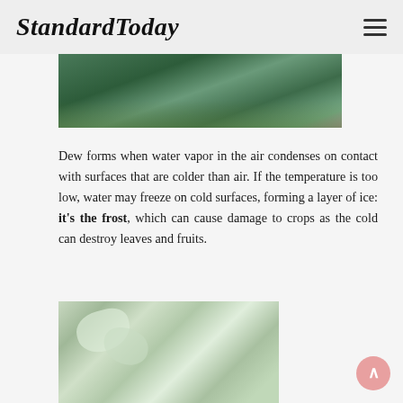StandardToday
[Figure (photo): Partial view of a plant with flowers, cropped at the top of the page, showing green leaves and pink/purple blossoms]
Dew forms when water vapor in the air condenses on contact with surfaces that are colder than air. If the temperature is too low, water may freeze on cold surfaces, forming a layer of ice: it's the frost, which can cause damage to crops as the cold can destroy leaves and fruits.
[Figure (photo): Frost-covered plant leaves and grass blades coated in white ice crystals, showing the effect of frost on vegetation]